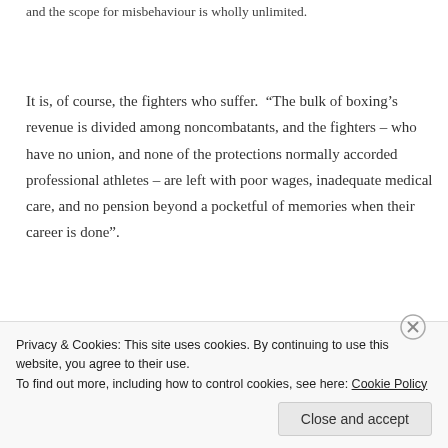and the scope for misbehaviour is wholly unlimited.
It is, of course, the fighters who suffer.  “The bulk of boxing’s revenue is divided among noncombatants, and the fighters – who have no union, and none of the protections normally accorded professional athletes – are left with poor wages, inadequate medical care, and no pension beyond a pocketful of memories when their career is done”.
Privacy & Cookies: This site uses cookies. By continuing to use this website, you agree to their use.
To find out more, including how to control cookies, see here: Cookie Policy
Close and accept